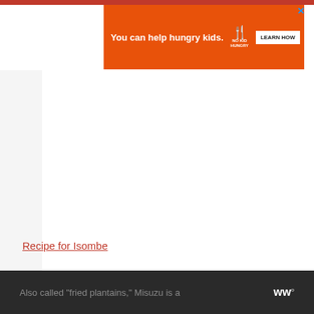[Figure (screenshot): Orange advertisement banner for No Kid Hungry charity with text 'You can help hungry kids.' and a 'LEARN HOW' button. Red bar at top. Close X button in top right.]
Recipe for Isombe
3. Misuzu
Also called "fried plantains," Misuzu is a